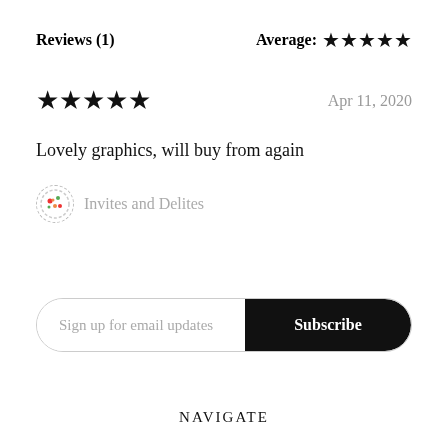Reviews (1)
Average: ★★★★★
★★★★★
Apr 11, 2020
Lovely graphics, will buy from again
Invites and Delites
Sign up for email updates
Subscribe
NAVIGATE